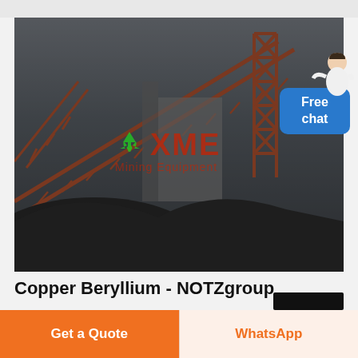[Figure (photo): Industrial mining equipment facility with conveyor belt structures, steel lattice towers, and piles of dark ore/mineral material. XME Mining Equipment watermark/logo visible in red with green recycling icon in the center of the image.]
[Figure (other): Free chat button with blue rounded rectangle and white text 'Free chat', with small figure of a customer service representative above it.]
Copper Beryllium - NOTZgroup
Get a Quote
WhatsApp